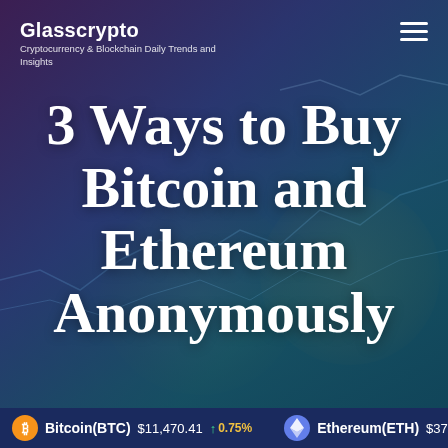Glasscrypto
Cryptocurrency & Blockchain Daily Trends and Insights
3 Ways to Buy Bitcoin and Ethereum Anonymously
Bitcoin(BTC) $11,470.41 ↑ 0.75%   Ethereum(ETH) $376.18 ↑